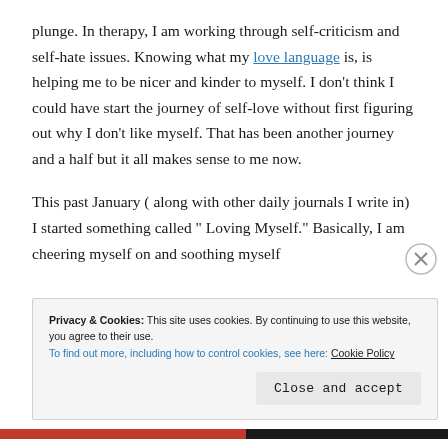plunge. In therapy, I am working through self-criticism and self-hate issues. Knowing what my love language is, is helping me to be nicer and kinder to myself. I don't think I could have start the journey of self-love without first figuring out why I don't like myself. That has been another journey and a half but it all makes sense to me now.
This past January ( along with other daily journals I write in) I started something called “ Loving Myself.” Basically, I am cheering myself on and soothing myself
Privacy & Cookies: This site uses cookies. By continuing to use this website, you agree to their use. To find out more, including how to control cookies, see here: Cookie Policy
Close and accept